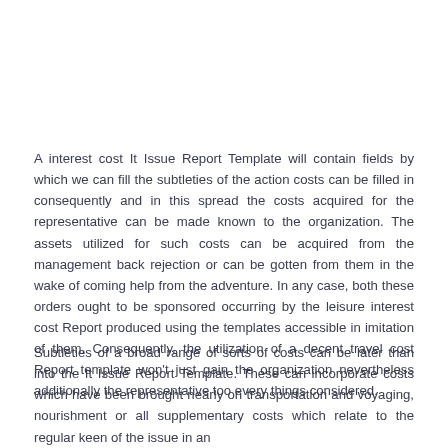A interest cost It Issue Report Template will contain fields by which we can fill the subtleties of the action costs can be filled in consequently and in this spread the costs acquired for the representative can be made known to the organization. The assets utilized for such costs can be acquired from the management back rejection or can be gotten from them in the wake of coming help from the adventure. In any case, both these orders ought to be sponsored occurring by the leisure interest cost Report produced using the templates accessible in imitation of them. Consequently, the utilization of a decent travel cost Report template won't just gain the organization nevertheless additionally the representative too every things considered.
Subtleties of a broad range of sorts of costs can be later than into the It Issue Report Template. These can incorporate costs which have been brought nearly on transportation and voyaging, nourishment or all supplementary costs which relate to the regular keen of the issue in an